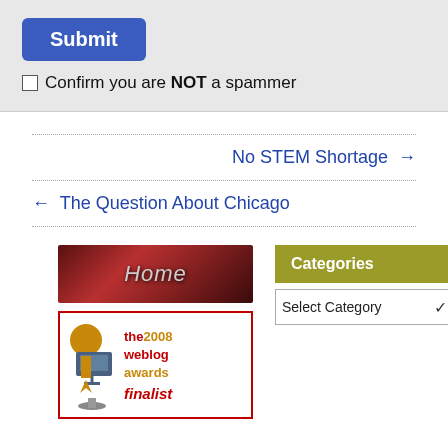[Figure (screenshot): Submit button (blue rounded rectangle) with white bold text 'Submit']
Confirm you are NOT a spammer
No STEM Shortage →
← The Question About Chicago
[Figure (illustration): Home banner with dark red nebula-like background and italic text 'Home']
[Figure (illustration): the 2008 weblog awards finalist badge with red border, gold trophy icon, and red/gold text]
Categories
Select Category